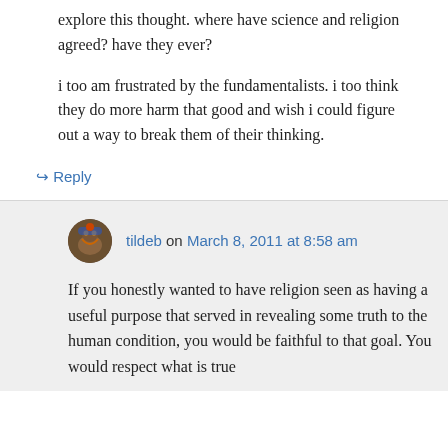explore this thought. where have science and religion agreed? have they ever?
i too am frustrated by the fundamentalists. i too think they do more harm that good and wish i could figure out a way to break them of their thinking.
↳ Reply
tildeb on March 8, 2011 at 8:58 am
If you honestly wanted to have religion seen as having a useful purpose that served in revealing some truth to the human condition, you would be faithful to that goal. You would respect what is true